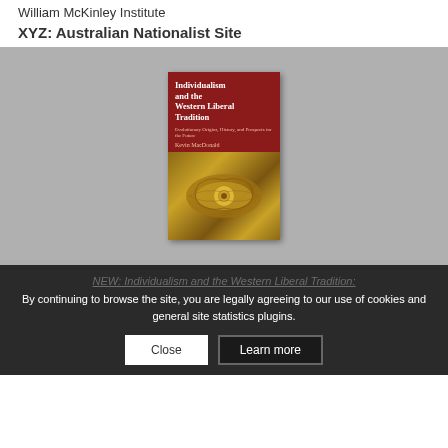William McKinley Institute
XYZ: Australian Nationalist Site
[Figure (illustration): Book cover for 'Individualism and the Western Liberal Tradition' by Kevin MacDonald, with red top half showing title text and gold ornamental bottom half]
NEW: Individualism and the Western Liberal Tradition:
By continuing to browse the site, you are legally agreeing to our use of cookies and general site statistics plugins.
Close
Learn more